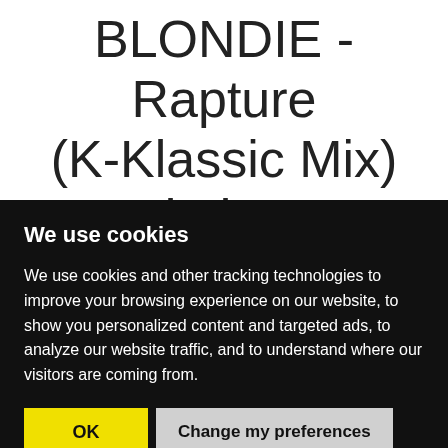BLONDIE - Rapture (K-Klassic Mix) lyrics
We use cookies
We use cookies and other tracking technologies to improve your browsing experience on our website, to show you personalized content and targeted ads, to analyze our website traffic, and to understand where our visitors are coming from.
OK  Change my preferences